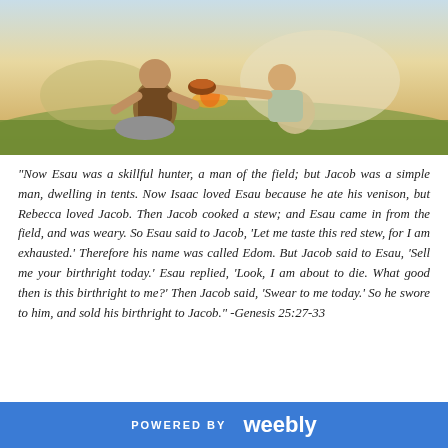[Figure (illustration): Biblical illustration showing two figures in ancient dress in an outdoor field setting. One figure seated on a rock, the other kneeling and offering a bowl of stew. Warm golden and green tones suggesting sunset or daytime outdoor scene.]
“Now Esau was a skillful hunter, a man of the field; but Jacob was a simple man, dwelling in tents. Now Isaac loved Esau because he ate his venison, but Rebecca loved Jacob. Then Jacob cooked a stew; and Esau came in from the field, and was weary. So Esau said to Jacob, ‘Let me taste this red stew, for I am exhausted.’ Therefore his name was called Edom. But Jacob said to Esau, ‘Sell me your birthright today.’ Esau replied, ‘Look, I am about to die. What good then is this birthright to me?’ Then Jacob said, ‘Swear to me today.’ So he swore to him, and sold his birthright to Jacob.” -Genesis 25:27-33
POWERED BY weebly